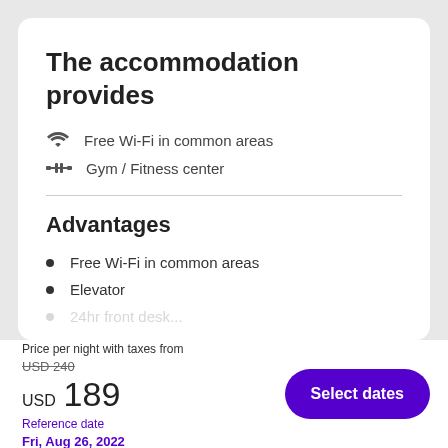The accommodation provides
Free Wi-Fi in common areas
Gym / Fitness center
Advantages
Free Wi-Fi in common areas
Elevator
Price per night with taxes from
USD 240
USD 189
Reference date
Fri, Aug 26, 2022